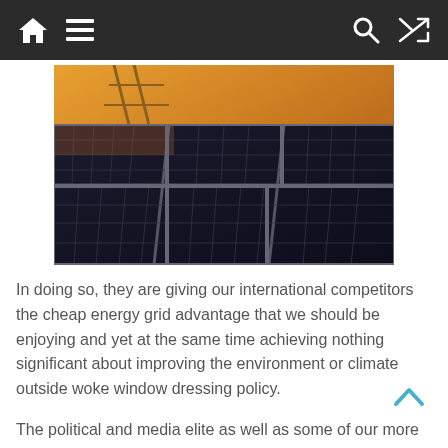Navigation bar with home, menu, search, and shuffle icons
[Figure (photo): Solar panels photographed from a low angle against a warm sunset/golden sky, with metal support structures visible in the background.]
In doing so, they are giving our international competitors the cheap energy grid advantage that we should be enjoying and yet at the same time achieving nothing significant about improving the environment or climate outside woke window dressing policy.
The political and media elite as well as some of our more woke corporates are now waiting with bated breath for when the Prime Minister